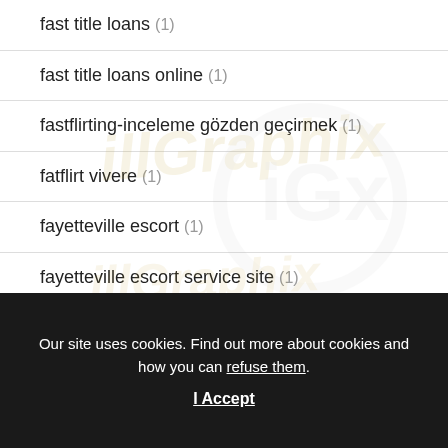fast title loans (1)
fast title loans online (1)
fastflirting-inceleme gözden geçirmek (1)
fatflirt vivere (1)
fayetteville escort (1)
fayetteville escort service site (1)
Our site uses cookies. Find out more about cookies and how you can refuse them.
I Accept